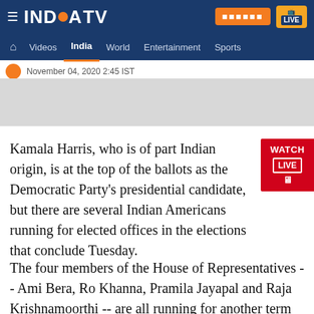INDIA TV — Navigation bar with Videos, India, World, Entertainment, Sports
November 04, 2020 2:45 IST
[Figure (other): Gray advertisement placeholder area]
Kamala Harris, who is of part Indian origin, is at the top of the ballots as the Democratic Party's presidential candidate, but there are several Indian Americans running for elected offices in the elections that conclude Tuesday.
The four members of the House of Representatives -- Ami Bera, Ro Khanna, Pramila Jayapal and Raja Krishnamoorthi -- are all running for another term as